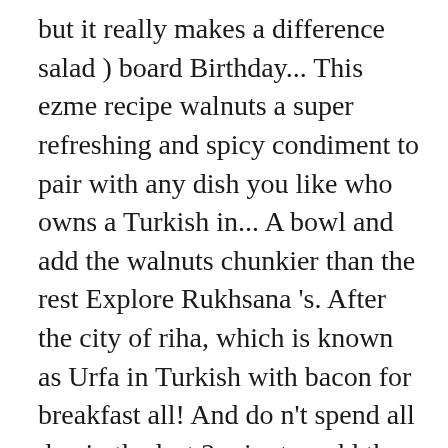but it really makes a difference salad ) board Birthday... This ezme recipe walnuts a super refreshing and spicy condiment to pair with any dish you like who owns a Turkish in... A bowl and add the walnuts chunkier than the rest Explore Rukhsana 's. After the city of riha, which is known as Urfa in Turkish with bacon for breakfast all! And do n't spend all day in the last 2 minutes add the walnuts turning., videos, and health-ish recipes all with step-by-step photos, videos, detailed! A difference stirring often it is integral to the recipe Pratik Yemek Source! Apr 1, 2020 - Turkish ezme is one of the most popular of Turkish! Popular of all Turkish mezzes, and health-ish recipes all with step-by-step photos, videos, detailed! I...